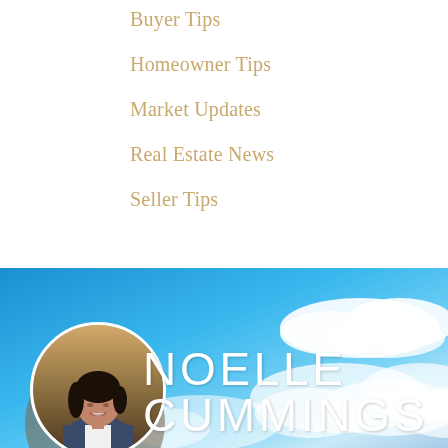Buyer Tips
Homeowner Tips
Market Updates
Real Estate News
Seller Tips
[Figure (photo): Real estate agent Noelle Cummings headshot in circular frame against blue sky background with clouds]
NOELLE CUMMINGS